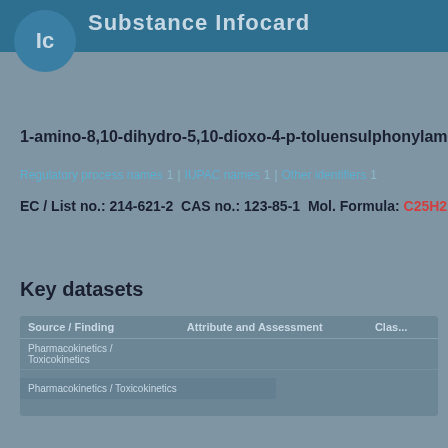Ic  Substance Infocard
1-amino-8,10-dihydro-5,10-dioxo-4-p-toluensulphonylaminobenz...
Regulatory process names 1  IUPAC names 1  Other identifiers 1
EC / List no.: 214-621-2  CAS no.: 123-85-1  Mol. Formula: C25H21...
Key datasets
| Source / Finding | Attribute and Assessment | Clas... |
| --- | --- | --- |
| Pharmacokinetics / Toxicokinetics |  |  |